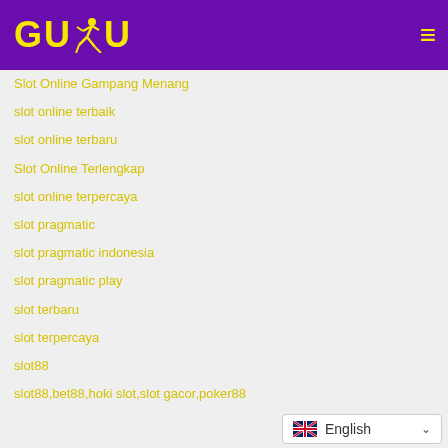[Figure (logo): GUDU logo with runner figure in yellow on purple background, with hamburger menu icon on the right]
Slot Online Gampang Menang
slot online terbaik
slot online terbaru
Slot Online Terlengkap
slot online terpercaya
slot pragmatic
slot pragmatic indonesia
slot pragmatic play
slot terbaru
slot terpercaya
slot88
slot88,bet88,hoki slot,slot gacor,poker88
[Figure (infographic): Language selector widget showing UK flag and English text with dropdown chevron]